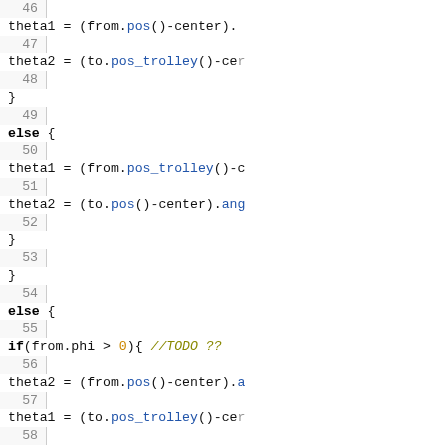[Figure (screenshot): Source code listing lines 46-75, C++ code with syntax highlighting showing conditional logic for theta1/theta2 angle calculations and sector/segment collision checks.]